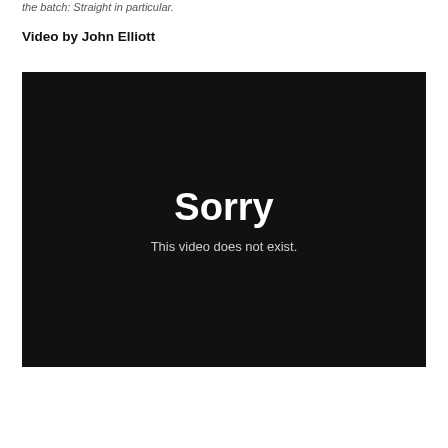the batch: Straight in particular.
Video by John Elliott
[Figure (screenshot): Black video player placeholder showing 'Sorry — This video does not exist.']